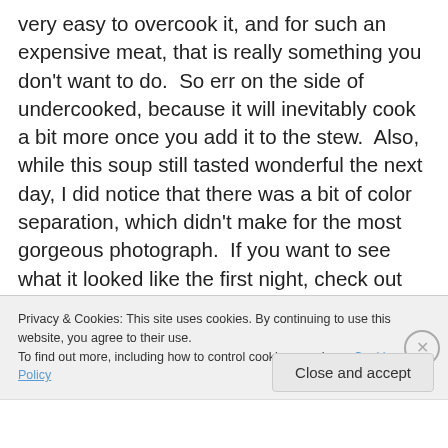very easy to overcook it, and for such an expensive meat, that is really something you don't want to do.  So err on the side of undercooked, because it will inevitably cook a bit more once you add it to the stew.  Also, while this soup still tasted wonderful the next day, I did notice that there was a bit of color separation, which didn't make for the most gorgeous photograph.  If you want to see what it looked like the first night, check out this blog. Despite the work, and the amount of cream (once in a while..)  this is definitely something I will be making again.  In fact, it almost makes me wish I actually lived in New England
Privacy & Cookies: This site uses cookies. By continuing to use this website, you agree to their use.
To find out more, including how to control cookies, see here: Cookie Policy
Close and accept